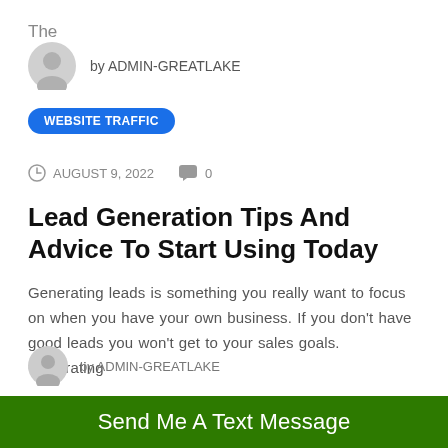The
by ADMIN-GREATLAKE
WEBSITE TRAFFIC
AUGUST 9, 2022   0
Lead Generation Tips And Advice To Start Using Today
Generating leads is something you really want to focus on when you have your own business. If you don't have good leads you won't get to your sales goals. Generating
by ADMIN-GREATLAKE
Send Me A Text Message